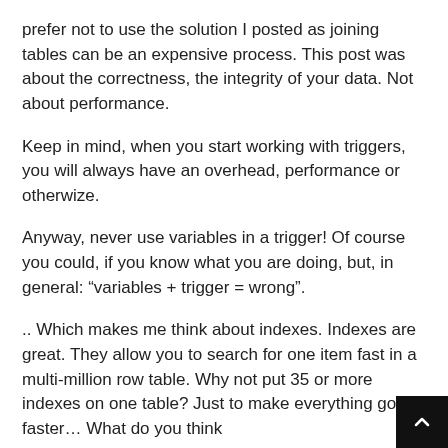prefer not to use the solution I posted as joining tables can be an expensive process. This post was about the correctness, the integrity of your data. Not about performance.
Keep in mind, when you start working with triggers, you will always have an overhead, performance or otherwize.
Anyway, never use variables in a trigger! Of course you could, if you know what you are doing, but, in general: “variables + trigger = wrong”.
.. Which makes me think about indexes. Indexes are great. They allow you to search for one item fast in a multi-million row table. Why not put 35 or more indexes on one table? Just to make everything go faster… What do you think